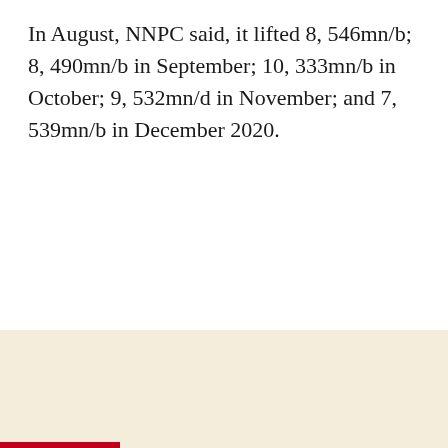In August, NNPC said, it lifted 8, 546mn/b; 8, 490mn/b in September; 10, 333mn/b in October; 9, 532mn/d in November; and 7, 539mn/b in December 2020.